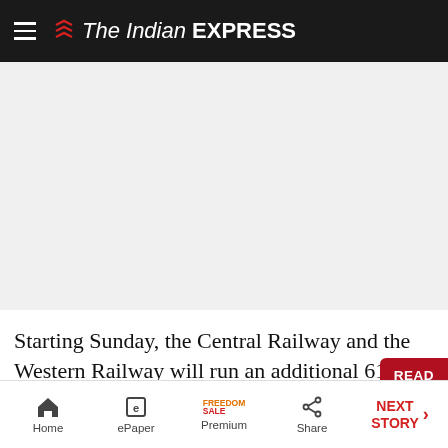The Indian EXPRESS
[Figure (other): Advertisement placeholder area, light gray background]
Starting Sunday, the Central Railway and the Western Railway will run an additional 610 local services in Mumbai, increasing daily services from 1,410 to 2,020. The announcement comes two days after the Maharashtra government wrote to the...
Home | ePaper | Premium | Share | NEXT STORY